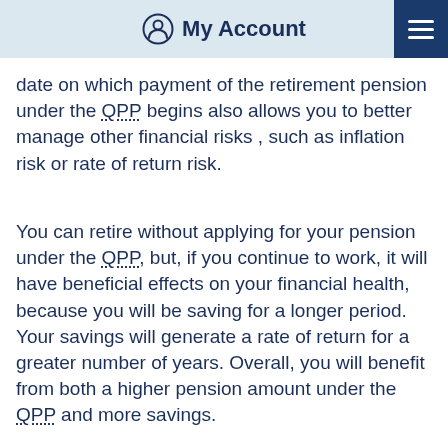My Account
date on which payment of the retirement pension under the QPP begins also allows you to better manage other financial risks , such as inflation risk or rate of return risk.
You can retire without applying for your pension under the QPP, but, if you continue to work, it will have beneficial effects on your financial health, because you will be saving for a longer period. Your savings will generate a rate of return for a greater number of years. Overall, you will benefit from both a higher pension amount under the QPP and more savings.
In addition, the indexation of that pension reduces the importance of non-indexed income